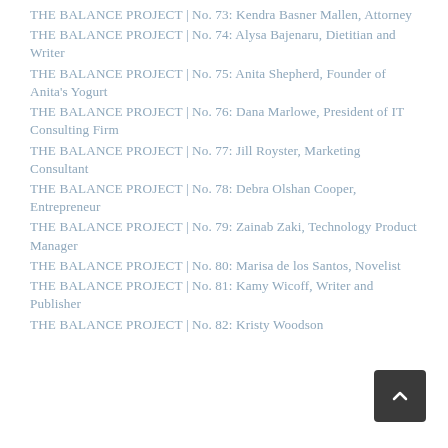THE BALANCE PROJECT | No. 73: Kendra Basner Mallen, Attorney
THE BALANCE PROJECT | No. 74: Alysa Bajenaru, Dietitian and Writer
THE BALANCE PROJECT | No. 75: Anita Shepherd, Founder of Anita's Yogurt
THE BALANCE PROJECT | No. 76: Dana Marlowe, President of IT Consulting Firm
THE BALANCE PROJECT | No. 77: Jill Royster, Marketing Consultant
THE BALANCE PROJECT | No. 78: Debra Olshan Cooper, Entrepreneur
THE BALANCE PROJECT | No. 79: Zainab Zaki, Technology Product Manager
THE BALANCE PROJECT | No. 80: Marisa de los Santos, Novelist
THE BALANCE PROJECT | No. 81: Kamy Wicoff, Writer and Publisher
THE BALANCE PROJECT | No. 82: Kristy Woodson